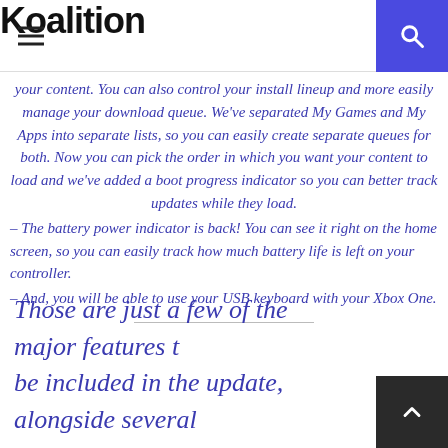Koalition
your content. You can also control your install lineup and more easily manage your download queue. We've separated My Games and My Apps into separate lists, so you can easily create separate queues for both. Now you can pick the order in which you want your content to load and we've added a boot progress indicator so you can better track updates while they load.
– The battery power indicator is back! You can see it right on the home screen, so you can easily track how much battery life is left on your controller.
– And, you will be able to use your USB keyboard with your Xbox One.
Those are just a few of the major features to be included in the update, alongside several